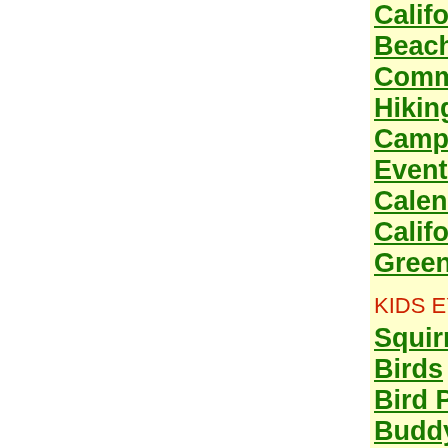California
Beach
Communities
Hiking & Camping
Events
Calendar
California
Green Solutions
KIDS EYE VIEW
Squirrels
Birds
Bird Profiles
Buddy's Diner
Insects & Weird Critters
Plants & Green Stuff
Other Fun Stuff
Nature
Education
Nor
Gre
Killo
Cali
Sam
Turr
Bir
Turk
Whi
Nor
Rec
Rec
Swa
Coc
Sha
Ame
Mer
Pere